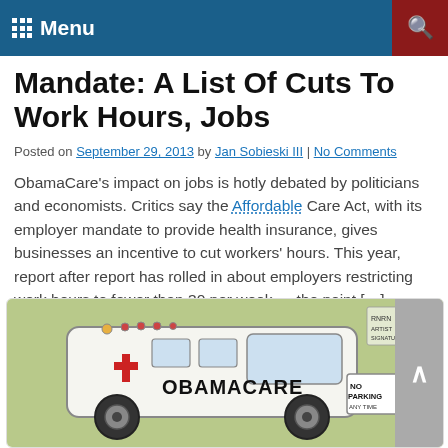Menu
Mandate: A List Of Cuts To Work Hours, Jobs
Posted on September 29, 2013 by Jan Sobieski III | No Comments
ObamaCare's impact on jobs is hotly debated by politicians and economists. Critics say the Affordable Care Act, with its employer mandate to provide health insurance, gives businesses an incentive to cut workers' hours. This year, report after report has rolled in about employers restricting work hours to fewer than 30 per week — the point […]
Full Story ▶
[Figure (illustration): Editorial cartoon showing an ambulance labeled OBAMACARE with a 'No Parking' sign, on a green background. Small artist signature in upper right corner.]